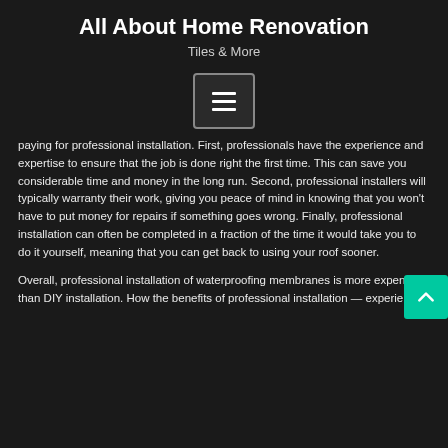All About Home Renovation
Tiles & More
[Figure (other): Hamburger menu button icon with three horizontal lines, dark background with light border]
paying for professional installation. First, professionals have the experience and expertise to ensure that the job is done right the first time. This can save you considerable time and money in the long run. Second, professional installers will typically warranty their work, giving you peace of mind in knowing that you won't have to put money for repairs if something goes wrong. Finally, professional installation can often be completed in a fraction of the time it would take you to do it yourself, meaning that you can get back to using your roof sooner.
Overall, professional installation of waterproofing membranes is more expensive than DIY installation. How the benefits of professional installation — experience